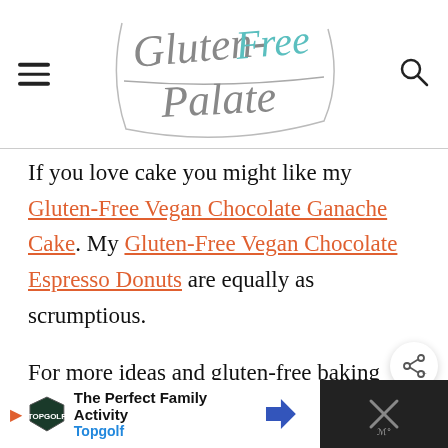Gluten-Free Palate
If you love cake you might like my Gluten-Free Vegan Chocolate Ganache Cake. My Gluten-Free Vegan Chocolate Espresso Donuts are equally as scrumptious.
For more ideas and gluten-free baking inspiration check out my Gluten-Free Desserts.
[Figure (other): Advertisement banner: The Perfect Family Activity - Topgolf]
[Figure (other): Close/dismiss button area (dark background with X icon)]